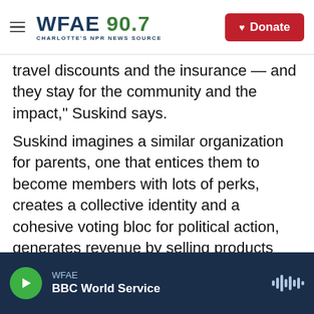WFAE 90.7 — CHARLOTTE'S NPR NEWS SOURCE
travel discounts and the insurance — and they stay for the community and the impact," Suskind says.
Suskind imagines a similar organization for parents, one that entices them to become members with lots of perks, creates a collective identity and a cohesive voting bloc for political action, generates revenue by selling products and services, and then uses its resources for lobbying and campaign contributions to serve parent — and child — interests.
Little kids may not be able to vote or organize, but
WFAE — BBC World Service